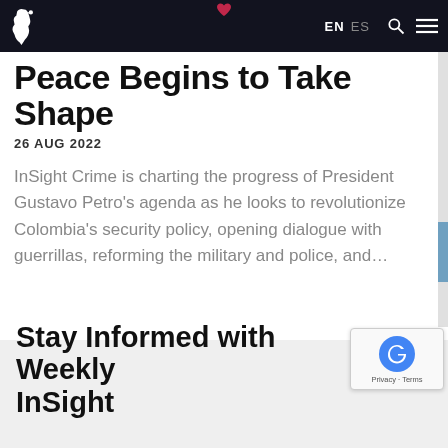EN  ES
Peace Begins to Take Shape
26 AUG 2022
InSight Crime is charting the progress of President Gustavo Petro's agenda as he looks to revolutionize Colombia's security policy, opening dialogue with guerrillas, reforming the military and police, and...
ABOUT US
Stay Informed with Weekly InSight